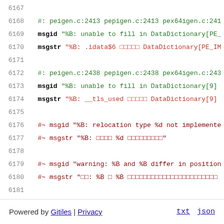6167 (empty line)
6168   #: peigen.c:2413 pepigen.c:2413 pex64igen.c:241
6169   msgid "%B: unable to fill in DataDictionary[PE_
6170   msgstr "%B: .idata$6 □□□□□ DataDictionary[PE_IM
6171 (empty line)
6172   #: peigen.c:2438 pepigen.c:2438 pex64igen.c:243
6173   msgid "%B: unable to fill in DataDictionary[9]
6174   msgstr "%B: __tls_used □□□□□ DataDictionary[9]
6175 (empty line)
6176   #~ msgid "%B: relocation type %d not implemente
6177   #~ msgstr "%B: □□□□ %d □□□□□□□□□□"
6178 (empty line)
6179   #~ msgid "warning: %B and %B differ in position
6180   #~ msgstr "□□: %B □ %B □□□□□□□□□□□□□□□□□□□□□□□
6181 (empty line)
6182   #~ msgid "warning: %B and %B differ in position
6183   #~ msgstr "□□: %B □ %B □□□□□□□□□□□□□□□□□□□□□□□
Powered by Gitiles | Privacy   txt  json